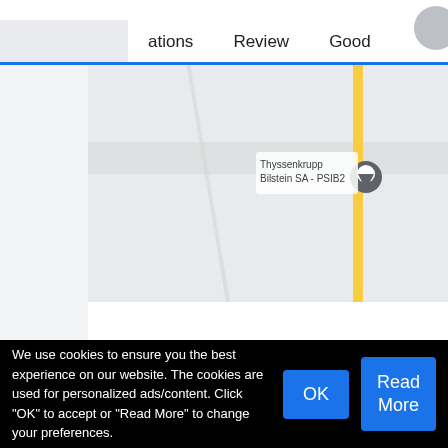ations   Review   Good
[Figure (map): Google Maps partial view showing Thyssenkrupp Bilstein SA - PSIB2 location with a map pin, road overlay in yellow/grey]
Customer Reviews of Sibiu Airport C
AVIS 8.7/10
We use cookies to ensure you the best experience on our website. The cookies are used for personalized ads/content. Click "OK" to accept or "Read More" to change your preferences.